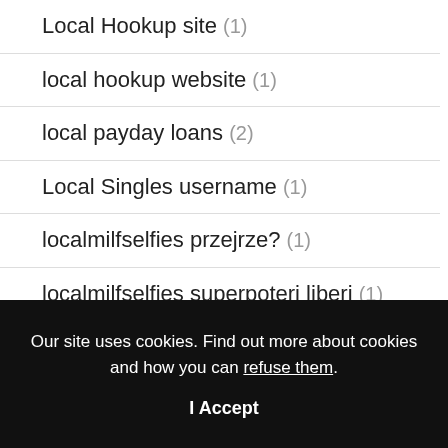Local Hookup site (1)
local hookup website (1)
local payday loans (2)
Local Singles username (1)
localmilfselfies przejrze? (1)
localmilfselfies superpoteri liberi (1)
Our site uses cookies. Find out more about cookies and how you can refuse them.
I Accept